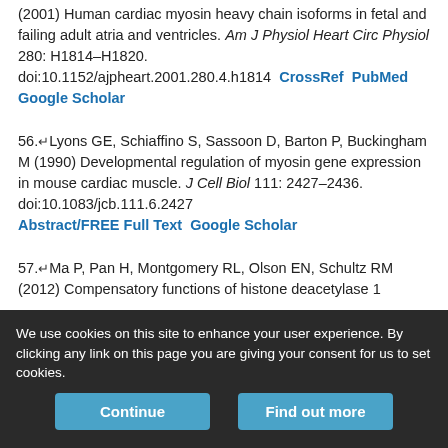(2001) Human cardiac myosin heavy chain isoforms in fetal and failing adult atria and ventricles. Am J Physiol Heart Circ Physiol 280: H1814–H1820. doi:10.1152/ajpheart.2001.280.4.h1814  CrossRef  PubMed  Google Scholar
56. Lyons GE, Schiaffino S, Sassoon D, Barton P, Buckingham M (1990) Developmental regulation of myosin gene expression in mouse cardiac muscle. J Cell Biol 111: 2427–2436. doi:10.1083/jcb.111.6.2427  Abstract/FREE Full Text  Google Scholar
57. Ma P, Pan H, Montgomery RL, Olson EN, Schultz RM (2012) Compensatory functions of histone deacetylase 1
We use cookies on this site to enhance your user experience. By clicking any link on this page you are giving your consent for us to set cookies.